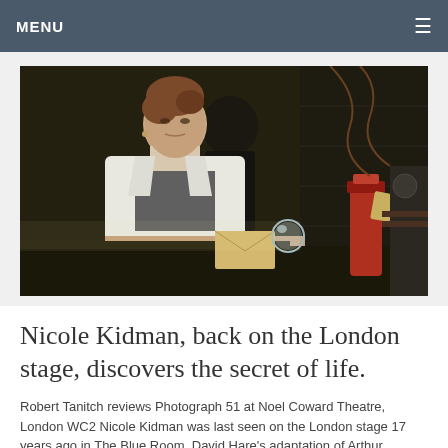MENU
[Figure (photo): A woman in a white lab coat seated at a table with scientific equipment including a red flask and glass orb, on a dark theatrical stage set. A man is partially visible behind her.]
Nicole Kidman, back on the London stage, discovers the secret of life.
Robert Tanitch reviews Photograph 51 at Noel Coward Theatre, London WC2 Nicole Kidman was last seen on the London stage 17 years ago in The Blue Room. David Hare's adaptation of Arthur